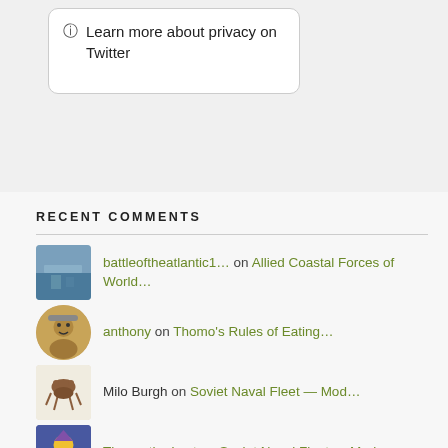Learn more about privacy on Twitter
RECENT COMMENTS
battleoftheatlantic1… on Allied Coastal Forces of World…
anthony on Thomo's Rules of Eating…
Milo Burgh on Soviet Naval Fleet — Mod…
Thomo the Lost on Soviet Naval Fleet — Mod…
Milo Burgh on Soviet Naval Fleet — Mod…